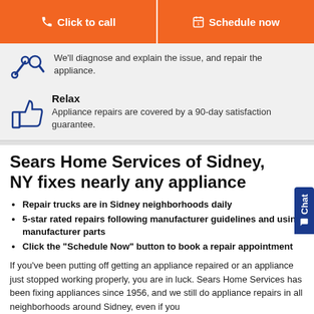Click to call
Schedule now
We'll diagnose and explain the issue, and repair the appliance.
Relax
Appliance repairs are covered by a 90-day satisfaction guarantee.
Sears Home Services of Sidney, NY fixes nearly any appliance
Repair trucks are in Sidney neighborhoods daily
5-star rated repairs following manufacturer guidelines and using manufacturer parts
Click the “Schedule Now” button to book a repair appointment
If you've been putting off getting an appliance repaired or an appliance just stopped working properly, you are in luck. Sears Home Services has been fixing appliances since 1956, and we still do appliance repairs in all neighborhoods around Sidney, even if you